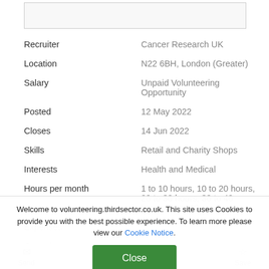| Field | Value |
| --- | --- |
| Recruiter | Cancer Research UK |
| Location | N22 6BH, London (Greater) |
| Salary | Unpaid Volunteering Opportunity |
| Posted | 12 May 2022 |
| Closes | 14 Jun 2022 |
| Skills | Retail and Charity Shops |
| Interests | Health and Medical |
| Hours per month | 1 to 10 hours, 10 to 20 hours, 20 to 30 hours, 30 to 40 hours, Over 40 hours |
| Expenses |  |
| Commitment | Short-Term |
Welcome to volunteering.thirdsector.co.uk. This site uses Cookies to provide you with the best possible experience. To learn more please view our Cookie Notice.